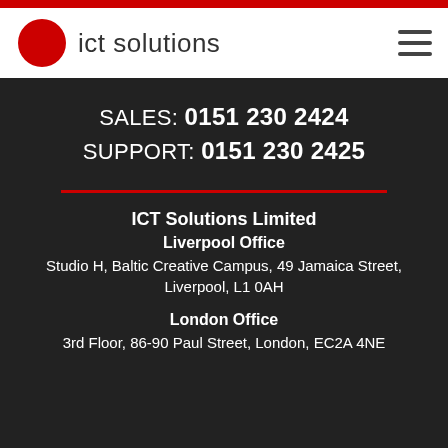[Figure (logo): ICT Solutions logo with red circular icon and company name text]
SALES: 0151 230 2424
SUPPORT: 0151 230 2425
ICT Solutions Limited
Liverpool Office
Studio H, Baltic Creative Campus, 49 Jamaica Street, Liverpool, L1 0AH
London Office
3rd Floor, 86-90 Paul Street, London, EC2A 4NE